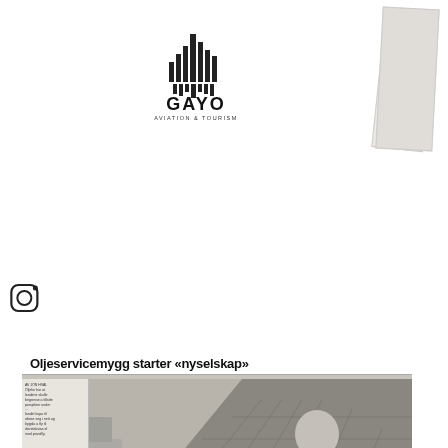[Figure (logo): GAYO Aviation & Tourism logo with vertical bar chart style graphic above the text]
[Figure (infographic): Social media icons row: Facebook (f), Location pin, LinkedIn (in), Instagram]
[Figure (photo): Photo of an open newspaper/magazine spread showing a Norwegian article titled 'Oljeservicemygg starter «nyselskap»' with a photo of a man standing on a dock/quay with ships in the background, and multiple text columns below]
With our S2A solution, clients have been able to continue their operations